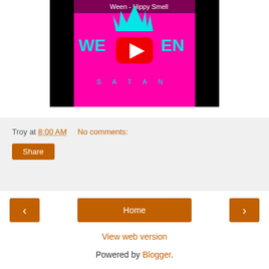[Figure (screenshot): YouTube video thumbnail for 'Ween - Hippy Smell' showing a pink/magenta background with the Ween logo in teal lightning bolt letters, a red YouTube play button in the center, and 'SATAN' spelled out in teal letters below. Black bars on left and right sides.]
Troy at 8:00 AM    No comments:
Share
‹
Home
›
View web version
Powered by Blogger.